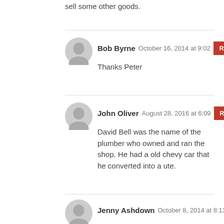sell some other goods.
Bob Byrne  October 16, 2014 at 9:02  REPLY
Thanks Peter
John Oliver  August 28, 2016 at 6:09  REPLY
David Bell was the name of the plumber who owned and ran the shop. He had a old chevy car that he converted into a ute.
Jenny Ashdown  October 8, 2014 at 8:13  REPLY